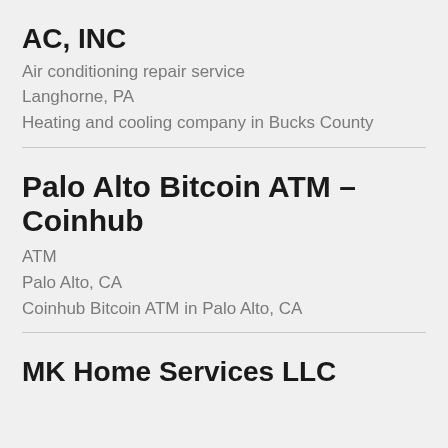AC, INC
Air conditioning repair service
Langhorne, PA
Heating and cooling company in Bucks County
Palo Alto Bitcoin ATM – Coinhub
ATM
Palo Alto, CA
Coinhub Bitcoin ATM in Palo Alto, CA
MK Home Services LLC